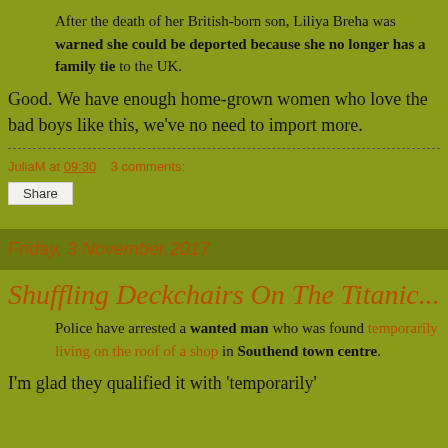After the death of her British-born son, Liliya Breha was warned she could be deported because she no longer has a family tie to the UK.
Good. We have enough home-grown women who love the bad boys like this, we've no need to import more.
JuliaM at 09:30    3 comments:
Share
Friday, 3 November 2017
Shuffling Deckchairs On The Titanic...
Police have arrested a wanted man who was found temporarily living on the roof of a shop in Southend town centre.
I'm glad they qualified it with 'temporarily'